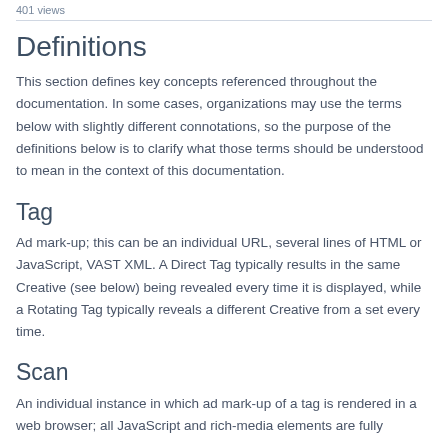401 views
Definitions
This section defines key concepts referenced throughout the documentation. In some cases, organizations may use the terms below with slightly different connotations, so the purpose of the definitions below is to clarify what those terms should be understood to mean in the context of this documentation.
Tag
Ad mark-up; this can be an individual URL, several lines of HTML or JavaScript, VAST XML. A Direct Tag typically results in the same Creative (see below) being revealed every time it is displayed, while a Rotating Tag typically reveals a different Creative from a set every time.
Scan
An individual instance in which ad mark-up of a tag is rendered in a web browser; all JavaScript and rich-media elements are fully